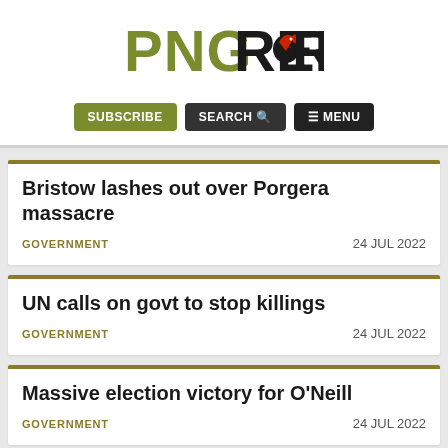[Figure (logo): PNG Report logo with olive green PNG text and black REPORT text, bird graphic in the O]
SUBSCRIBE  SEARCH  ☰ MENU
Bristow lashes out over Porgera massacre
GOVERNMENT   24 JUL 2022
UN calls on govt to stop killings
GOVERNMENT   24 JUL 2022
Massive election victory for O'Neill
GOVERNMENT   24 JUL 2022